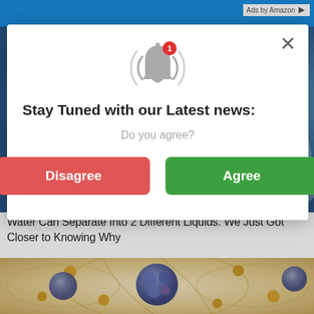Ads by Amazon
[Figure (photo): Close-up photo of water splashing with blue bubbles on what appears to be a metallic surface]
Water Can Separate Into 2 Different Liquids. We Just Got Closer to Knowing Why
[Figure (photo): Scientific illustration of molecular/atomic structures resembling dark blue-purple clusters connected by orbital rings and golden nodes on a light beige background]
[Figure (screenshot): Modal popup dialog with bell notification icon, headline 'Stay Tuned with our Latest news:', subtext 'Do you agree?', and two buttons: red 'Disagree' and green 'Agree']